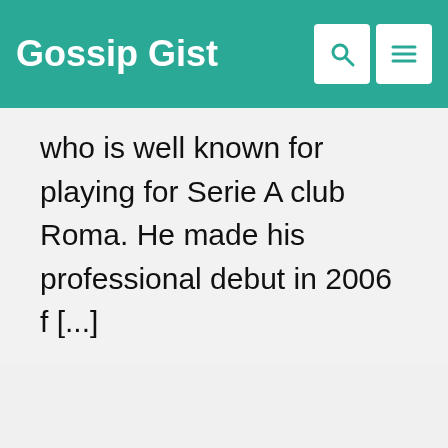Gossip Gist
who is well known for playing for Serie A club Roma. He made his professional debut in 2006 f [...]